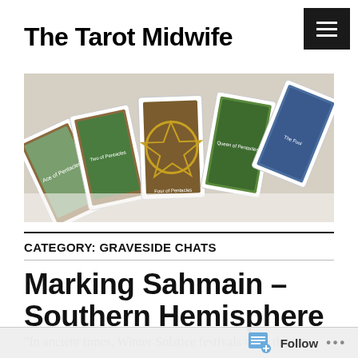The Tarot Midwife
[Figure (photo): A spread of tarot cards laid out on a white surface, showing colorful illustrated cards including pentacles and other suit cards.]
CATEGORY: GRAVESIDE CHATS
Marking Sahmain – Southern Hemisphere
“In ancient times, Winter Solstice festivals were the